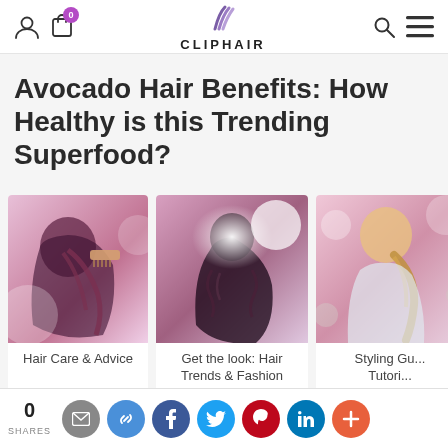CLIPHAIR
Avocado Hair Benefits: How Healthy is this Trending Superfood?
[Figure (photo): Hair care photo - woman applying hair treatment with a comb]
Hair Care & Advice
[Figure (photo): Get the look photo - woman with curly hair under bright lights]
Get the look: Hair Trends & Fashion
[Figure (photo): Styling guide photo - woman with braided hair outdoors]
Styling Gu... Tutori...
0 SHARES